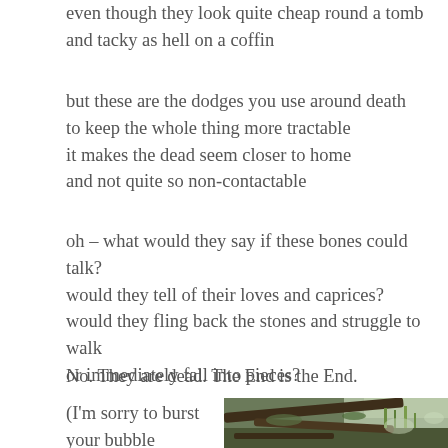even though they look quite cheap round a tomb
and tacky as hell on a coffin
but these are the dodges you use around death
to keep the whole thing more tractable
it makes the dead seem closer to home
and not quite so non-contactable
oh – what would they say if these bones could talk?
would they tell of their loves and caprices?
would they fling back the stones and struggle to walk
or immediately fall into pieces?
No. They are dead. The End is the End.
(I'm sorry to burst
your bubble
but better you hear
[Figure (photo): Photograph of mossy tree branches or logs on a forest floor with grass visible]